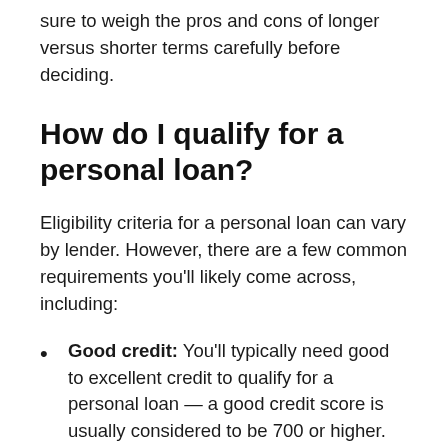sure to weigh the pros and cons of longer versus shorter terms carefully before deciding.
How do I qualify for a personal loan?
Eligibility criteria for a personal loan can vary by lender. However, there are a few common requirements you'll likely come across, including:
Good credit: You'll typically need good to excellent credit to qualify for a personal loan — a good credit score is usually considered to be 700 or higher. There are also several lenders that offer personal loans for bad credit, but these loans tend to have higher interest rates